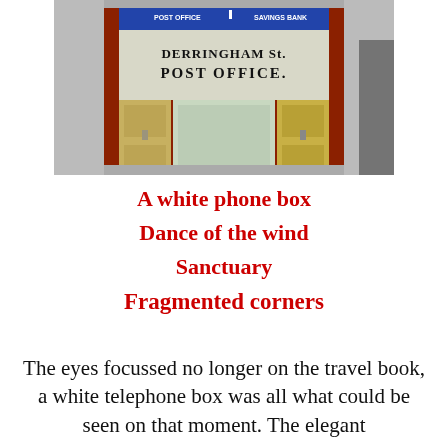[Figure (photo): Photograph of a weathered post office storefront — 'Derringham St. Post Office' sign above the door, red brick facade, aged white-painted fascia, with flanking doors and a blue sign at top.]
A white phone box
Dance of the wind
Sanctuary
Fragmented corners
The eyes focussed no longer on the travel book, a white telephone box was all what could be seen on that moment. The elegant